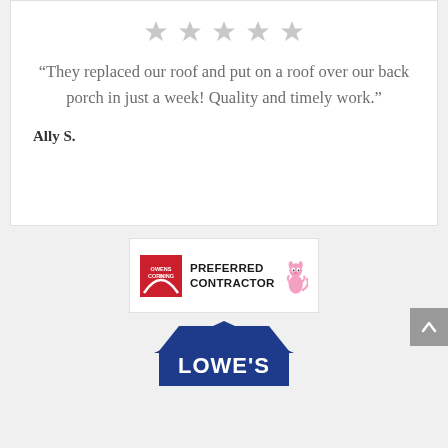[Figure (other): Five gray star rating icons in a row at top of review card]
“They replaced our roof and put on a roof over our back porch in just a week! Quality and timely work.”
Ally S.
[Figure (logo): Owens Corning Preferred Contractor badge with Pink Panther mascot]
[Figure (logo): Lowe's logo partial view]